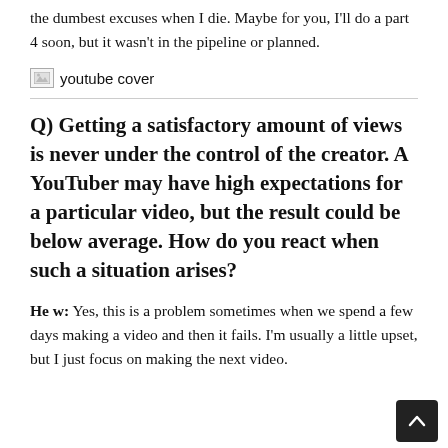the dumbest excuses when I die. Maybe for you, I'll do a part 4 soon, but it wasn't in the pipeline or planned.
[Figure (illustration): Broken image placeholder labeled 'youtube cover']
Q) Getting a satisfactory amount of views is never under the control of the creator. A YouTuber may have high expectations for a particular video, but the result could be below average. How do you react when such a situation arises?
He w: Yes, this is a problem sometimes when we spend a few days making a video and then it fails. I'm usually a little upset, but I just focus on making the next video.